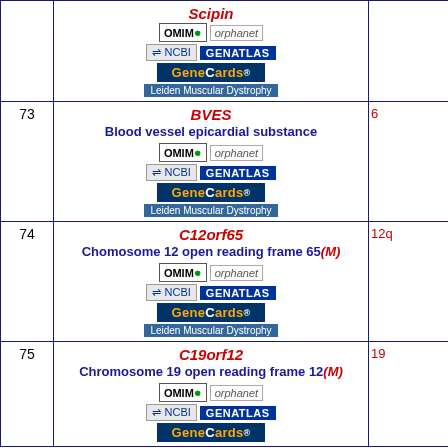| # | Gene | Location |
| --- | --- | --- |
|  | Scipin [OMIM][orphanet][NCBI][GENATLAS][GeneCards][Leiden Muscular Dystrophy] |  |
| 73 | BVES Blood vessel epicardial substance [OMIM][orphanet][NCBI][GENATLAS][GeneCards][Leiden Muscular Dystrophy] | 6 |
| 74 | C12orf65 Chomosome 12 open reading frame 65(M) [OMIM][orphanet][NCBI][GENATLAS][GeneCards][Leiden Muscular Dystrophy] | 12q |
| 75 | C19orf12 Chromosome 19 open reading frame 12(M) [OMIM][orphanet][NCBI][GENATLAS][GeneCards] | 19 |